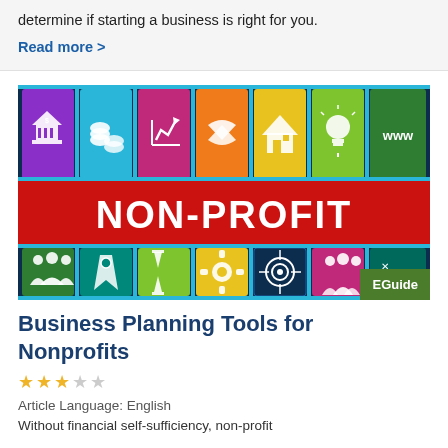determine if starting a business is right for you.
Read more >
[Figure (illustration): Non-profit themed banner image with colorful icon tiles (bank, coins, chart, handshake, house, lightbulb, www, people, map, hourglass, gear, target, group, strategy) and a large red central band with white bold text 'NON-PROFIT']
EGuide
Business Planning Tools for Nonprofits
★★★☆☆
Article Language: English
Without financial self-sufficiency, non-profit